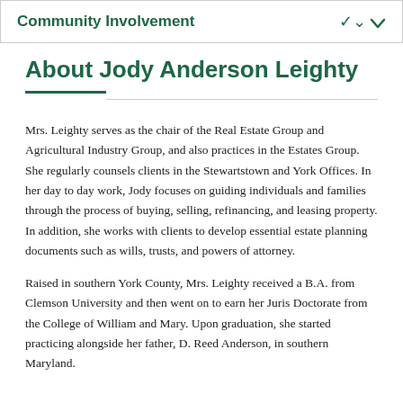Community Involvement
About Jody Anderson Leighty
Mrs. Leighty serves as the chair of the Real Estate Group and Agricultural Industry Group, and also practices in the Estates Group. She regularly counsels clients in the Stewartstown and York Offices. In her day to day work, Jody focuses on guiding individuals and families through the process of buying, selling, refinancing, and leasing property. In addition, she works with clients to develop essential estate planning documents such as wills, trusts, and powers of attorney.
Raised in southern York County, Mrs. Leighty received a B.A. from Clemson University and then went on to earn her Juris Doctorate from the College of William and Mary. Upon graduation, she started practicing alongside her father, D. Reed Anderson, in southern Maryland.